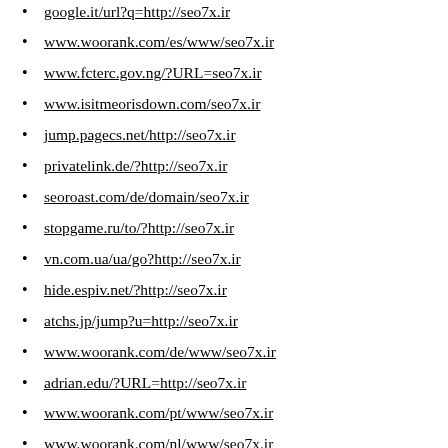google.it/url?q=http://seo7x.ir
www.woorank.com/es/www/seo7x.ir
www.fcterc.gov.ng/?URL=seo7x.ir
www.isitmeorisdown.com/seo7x.ir
jump.pagecs.net/http://seo7x.ir
privatelink.de/?http://seo7x.ir
seoroast.com/de/domain/seo7x.ir
stopgame.ru/to/?http://seo7x.ir
vn.com.ua/ua/go?http://seo7x.ir
hide.espiv.net/?http://seo7x.ir
atchs.jp/jump?u=http://seo7x.ir
www.woorank.com/de/www/seo7x.ir
adrian.edu/?URL=http://seo7x.ir
www.woorank.com/pt/www/seo7x.ir
www.woorank.com/nl/www/seo7x.ir
hannasomatics.com/?URL=seo7x.ir
www.woodworker.de/?URL=seo7x.ir
www.onekingdom.us/?URL=seo7x.ir
www.woorank.com/en/www/seo7x.ir